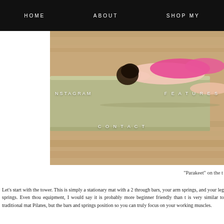HOME   ABOUT   SHOP MY
[Figure (photo): Person lying on a Pilates tower/mat equipment in a studio with wooden floor, wearing pink top, head resting on hands]
NSTAGRAM   FEATURES   CONTACT
"Parakeet" on the t
Let's start with the tower. This is simply a stationary mat with a 2 through bars, your arm springs, and your leg springs. Even thou equipment, I would say it is probably more beginner friendly than t is very similar to traditional mat Pilates, but the bars and springs position so you can truly focus on your working muscles.
The Pilates Barre Studio has 4 tower units and 1 Cadillac. I will s you can basically do anything on the Cadillac that you can do on th 5 people. There are only 4 reformers, so the number of people wh